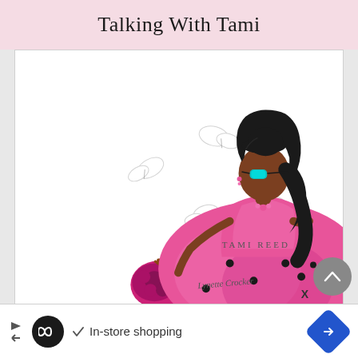Talking With Tami
[Figure (illustration): Fashion illustration of a stylish woman with dark skin wearing a bright pink/magenta poofy dress with black trim, dark sunglasses, long dark wavy hair, holding a decorative pink handbag. Several white butterflies surround her. Text 'TAMI REED' appears to the right. Artist signature 'Lynette Crocker' at bottom right.]
In-store shopping
[Figure (logo): Ad bar with infinity logo, checkmark, 'In-store shopping' text, and blue diamond arrow icon]